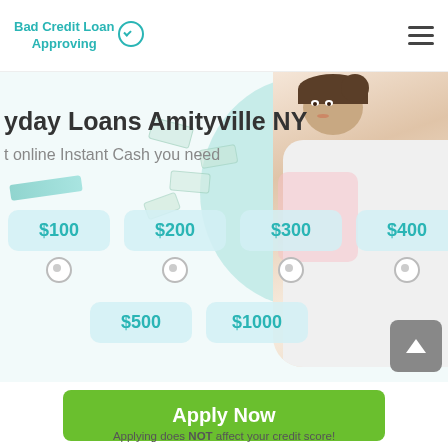Bad Credit Loan Approving
yday Loans Amityville NY
t online Instant Cash you need
[Figure (infographic): Loan amount selector with radio buttons showing $100, $200, $300, $400, $500, $1000 options against a hero banner with a woman and scattered money notes]
Apply Now
Applying does NOT affect your credit score!
No credit check to apply.